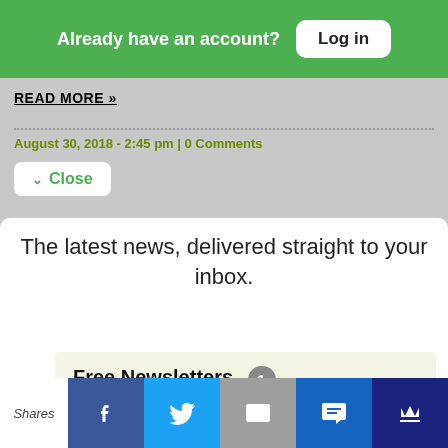Already have an account? Log in
READ MORE »
August 30, 2018 - 2:45 pm | 0 Comments
Close
The latest news, delivered straight to your inbox.
Free Newsletters 1
Shares